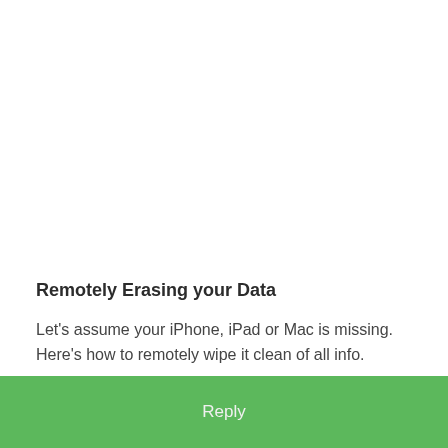Remotely Erasing your Data
Let's assume your iPhone, iPad or Mac is missing. Here's how to remotely wipe it clean of all info.
Reply